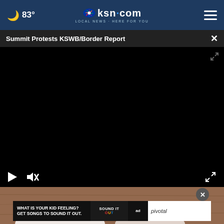83° ksn.com LOCAL NEWS·HERE FOR YOU
Summit Protests KSWB/Border Report
[Figure (screenshot): Black video player area with play and mute controls at bottom left and fullscreen button at bottom right]
[Figure (photo): Partial image of wooden surface with a white spoon or cup visible]
WHAT IS YOUR KID FEELING? GET SONGS TO SOUND IT OUT. SOUND IT OUT ad council pivotal